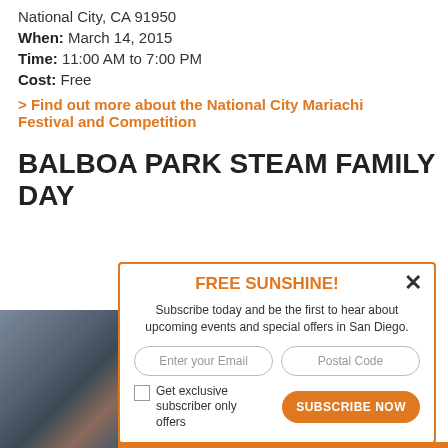National City, CA 91950
When: March 14, 2015
Time: 11:00 AM to 7:00 PM
Cost: Free
> Find out more about the National City Mariachi Festival and Competition
BALBOA PARK STEAM FAMILY DAY
[Figure (photo): Partial photo of event attendees at Balboa Park STEAM Family Day]
FREE SUNSHINE! Subscribe today and be the first to hear about upcoming events and special offers in San Diego. [Email input] [Postal Code input] [Checkbox: Get exclusive subscriber only offers] [SUBSCRIBE NOW button]